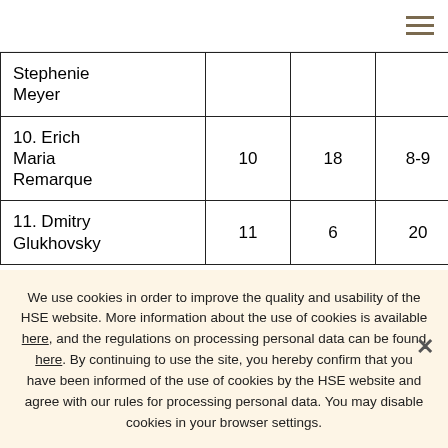| Stephenie Meyer |  |  |  |  |
| 10. Erich Maria Remarque | 10 | 18 | 8-9 | 17 |
| 11. Dmitry Glukhovsky | 11 | 6 | 20 | 9 |
We use cookies in order to improve the quality and usability of the HSE website. More information about the use of cookies is available here, and the regulations on processing personal data can be found here. By continuing to use the site, you hereby confirm that you have been informed of the use of cookies by the HSE website and agree with our rules for processing personal data. You may disable cookies in your browser settings.